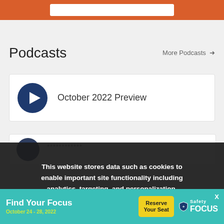[Figure (screenshot): Orange navigation bar at top with white search input field]
Podcasts
More Podcasts →
[Figure (other): Podcast card with dark blue play button circle and text: October 2022 Preview]
[Figure (other): Partially visible second podcast card]
This website stores data such as cookies to enable important site functionality including analytics, targeting, and personalization. View our privacy policy.
[Figure (infographic): Ad banner: Find Your Focus, October 24-28 2022, Reserve Your Seat, Safety FOCUS with close X button]